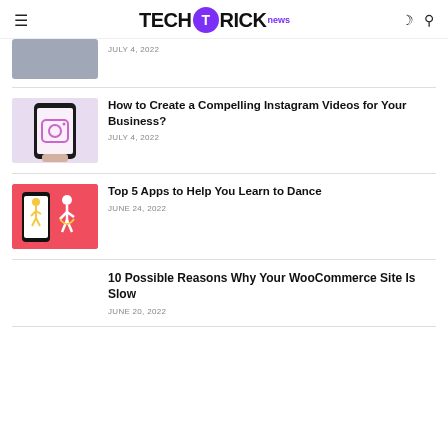TECH T RICK news
JULY 4, 2022
How to Create a Compelling Instagram Videos for Your Business?
JULY 4, 2022
Top 5 Apps to Help You Learn to Dance
JUNE 24, 2022
10 Possible Reasons Why Your WooCommerce Site Is Slow
JUNE 20, 2022